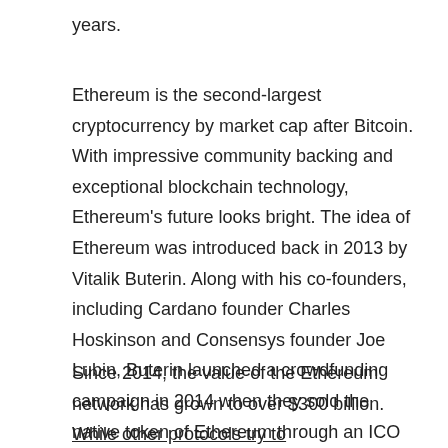years.
Ethereum is the second-largest cryptocurrency by market cap after Bitcoin. With impressive community backing and exceptional blockchain technology, Ethereum's future looks bright. The idea of Ethereum was introduced back in 2013 by Vitalik Buterin. Along with his co-founders, including Cardano founder Charles Hoskinson and Consensys founder Joe Lubin, Buterin launched a crowdfunding campaign in 2014 when they sold the native token of Ethereum through an ICO (Initial Coin Offering). By the end of the ICO, Ethereum's team had collected about 17 million US dollars.
Since 2014, the value of the Ethereum network has grown to over $300 billion. While other protocols try to replace Ethereum, it is still one of the most robust and